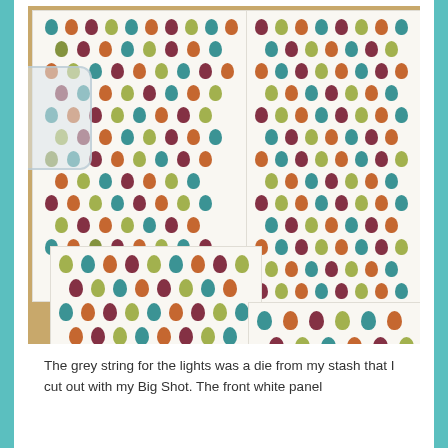[Figure (photo): Photo of multiple sheets of white paper/cardstock laid out on a wooden table, each covered with rows of colorful teardrop/bulb shapes in teal, orange, dark red/maroon, yellow-green, and olive colors representing Christmas light bulbs. A clear plastic container is partially visible on the left side.]
The grey string for the lights was a die from my stash that I cut out with my Big Shot. The front white panel